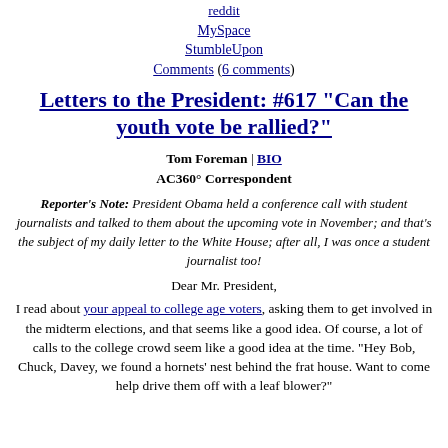reddit
MySpace
StumbleUpon
Comments (6 comments)
Letters to the President: #617 "Can the youth vote be rallied?"
Tom Foreman | BIO
AC360° Correspondent
Reporter's Note: President Obama held a conference call with student journalists and talked to them about the upcoming vote in November; and that's the subject of my daily letter to the White House; after all, I was once a student journalist too!
Dear Mr. President,
I read about your appeal to college age voters, asking them to get involved in the midterm elections, and that seems like a good idea. Of course, a lot of calls to the college crowd seem like a good idea at the time. "Hey Bob, Chuck, Davey, we found a hornets' nest behind the frat house. Want to come help drive them off with a leaf blower?"